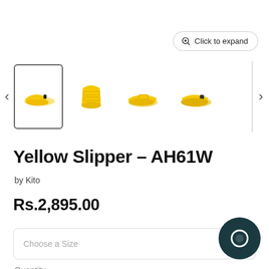[Figure (screenshot): E-commerce product page for Yellow Slipper AH61W by Kito, showing product thumbnail carousel with 4 yellow slipper images, a Click to expand button, product title, brand, price Rs.2,895.00, size selector dropdown, and chat button]
Yellow Slipper – AH61W
by Kito
Rs.2,895.00
Choose a Size
Quantity